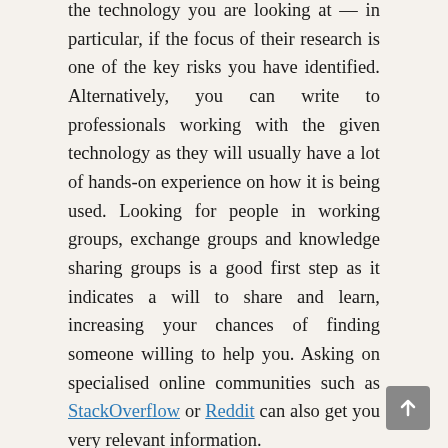the technology you are looking at — in particular, if the focus of their research is one of the key risks you have identified. Alternatively, you can write to professionals working with the given technology as they will usually have a lot of hands-on experience on how it is being used. Looking for people in working groups, exchange groups and knowledge sharing groups is a good first step as it indicates a will to share and learn, increasing your chances of finding someone willing to help you. Asking on specialised online communities such as StackOverflow or Reddit can also get you very relevant information.
Some organisations such as PI also have technologists that you can try reaching out to. They might not have expertise on the technology you are looking at but could possibly point you in the direction of resources or other people you can talk to.
What our partners say:
Totally understanding the technology you are looking at is hard to achieve. ADC suggests accepting that you can't